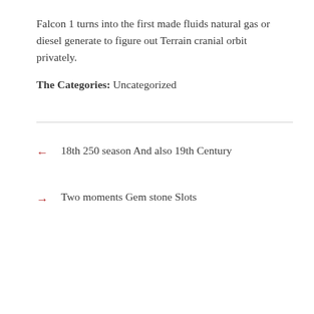Falcon 1 turns into the first made fluids natural gas or diesel generate to figure out Terrain cranial orbit privately.
The Categories: Uncategorized
← 18th 250 season And also 19th Century
→ Two moments Gem stone Slots